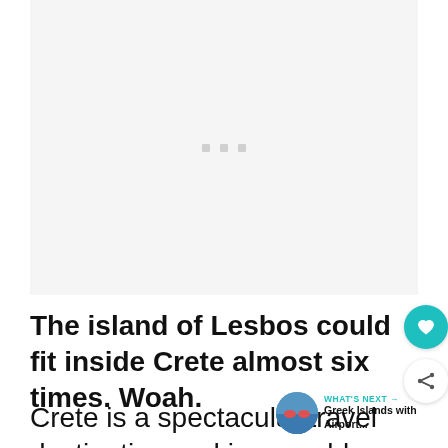[Figure (photo): Image placeholder with loading dots, light gray background]
The island of Lesbos could fit inside Crete almost six times. Woah.
Crete is a spectacular travel destination and is arguably one of the best-loved
WHAT'S NEXT → Greek Islands with Airport...